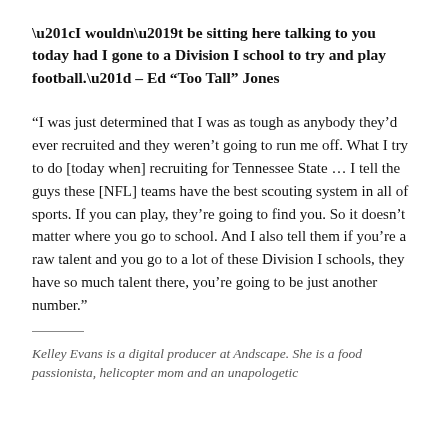“I wouldn’t be sitting here talking to you today had I gone to a Division I school to try and play football.” – Ed “Too Tall” Jones
“I was just determined that I was as tough as anybody they’d ever recruited and they weren’t going to run me off. What I try to do [today when] recruiting for Tennessee State … I tell the guys these [NFL] teams have the best scouting system in all of sports. If you can play, they’re going to find you. So it doesn’t matter where you go to school. And I also tell them if you’re a raw talent and you go to a lot of these Division I schools, they have so much talent there, you’re going to be just another number.”
Kelley Evans is a digital producer at Andscape. She is a food passionista, helicopter mom and an unapologetic